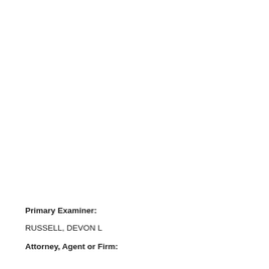Primary Examiner:
RUSSELL, DEVON L
Attorney, Agent or Firm: